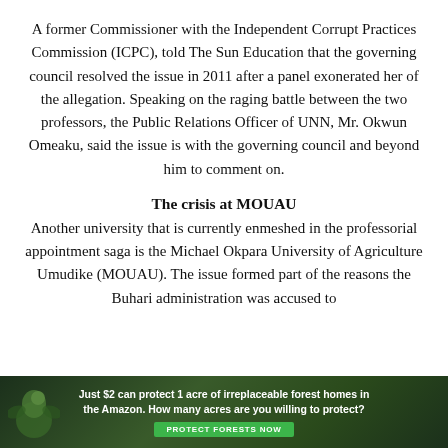A former Commissioner with the Independent Corrupt Practices Commission (ICPC), told The Sun Education that the governing council resolved the issue in 2011 after a panel exonerated her of the allegation. Speaking on the raging battle between the two professors, the Public Relations Officer of UNN, Mr. Okwun Omeaku, said the issue is with the governing council and beyond him to comment on.
The crisis at MOUAU
Another university that is currently enmeshed in the professorial appointment saga is the Michael Okpara University of Agriculture Umudike (MOUAU). The issue formed part of the reasons the Buhari administration was accused to...
[Figure (infographic): Advertisement banner with dark green forest background and a bird image on the left. Text reads: 'Just $2 can protect 1 acre of irreplaceable forest homes in the Amazon. How many acres are you willing to protect?' with a green 'PROTECT FORESTS NOW' button.]